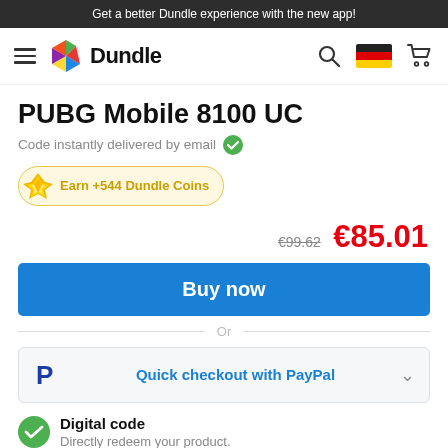Get a better Dundle experience with the new app!
[Figure (logo): Dundle logo with colorful hexagon icon and navigation bar with hamburger menu, search icon, German flag, and cart icon]
PUBG Mobile 8100 UC
Code instantly delivered by email ✓
Earn +544 Dundle Coins
€99.62  €85.01
Buy now
Or
Quick checkout with PayPal
Digital code
Directly redeem your product.